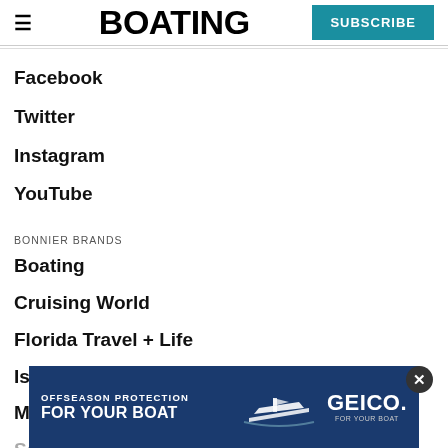BOATING | SUBSCRIBE
Facebook
Twitter
Instagram
YouTube
BONNIER BRANDS
Boating
Cruising World
Florida Travel + Life
Islands
Marlin
Sailing
Salt Water Sportsman
[Figure (infographic): GEICO advertisement banner: OFFSEASON PROTECTION FOR YOUR BOAT with boat illustration and GEICO FOR YOUR BOAT logo]